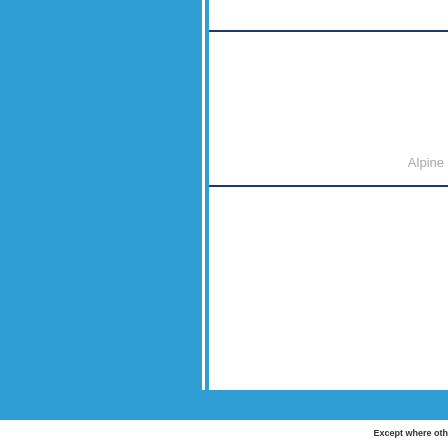[Figure (other): Blue panel cover page layout with vertical divider, horizontal lines, and 'Alpine' watermark text on right panel]
Except where oth